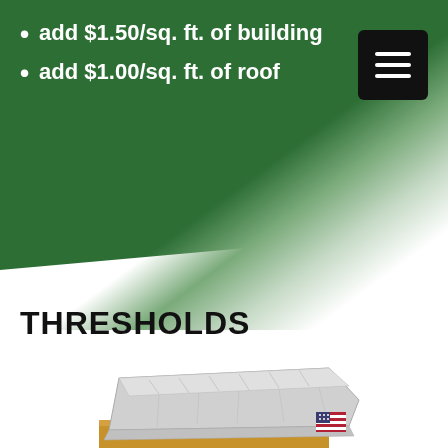add $1.50/sq. ft. of building
add $1.00/sq. ft. of roof
THRESHOLDS
[Figure (photo): A metal threshold product shown in perspective view, with a diamond-plate textured surface, resting partially on a wooden surface. A small US flag is visible in the lower right corner of the product image.]